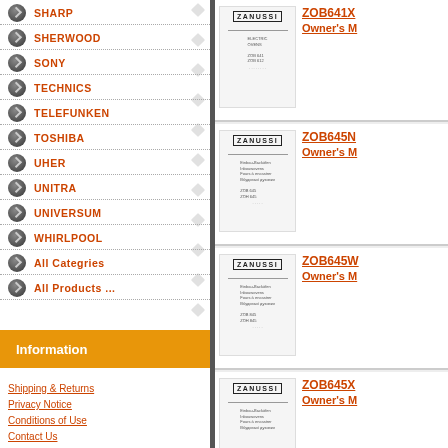SHARP
SHERWOOD
SONY
TECHNICS
TELEFUNKEN
TOSHIBA
UHER
UNITRA
UNIVERSUM
WHIRLPOOL
All Categries
All Products ...
Information
Shipping & Returns
Privacy Notice
Conditions of Use
Contact Us
[Figure (screenshot): Product thumbnail for ZOB641X Zanussi oven owner's manual]
ZOB641X
Owner's M
[Figure (screenshot): Product thumbnail for ZOB645N Zanussi oven owner's manual]
ZOB645N
Owner's M
[Figure (screenshot): Product thumbnail for ZOB645W Zanussi oven owner's manual]
ZOB645W
Owner's M
[Figure (screenshot): Product thumbnail for ZOB645X Zanussi oven owner's manual]
ZOB645X
Owner's M